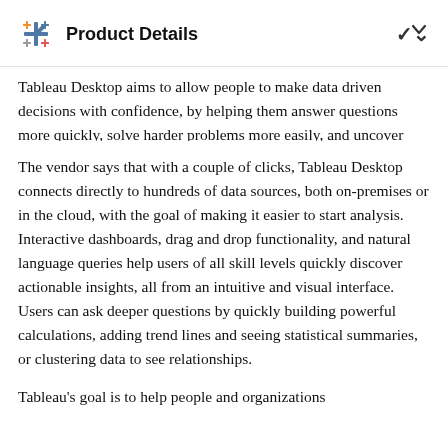Product Details
Tableau Desktop aims to allow people to make data driven decisions with confidence, by helping them answer questions more quickly, solve harder problems more easily, and uncover new insights more frequently.
The vendor says that with a couple of clicks, Tableau Desktop connects directly to hundreds of data sources, both on-premises or in the cloud, with the goal of making it easier to start analysis. Interactive dashboards, drag and drop functionality, and natural language queries help users of all skill levels quickly discover actionable insights, all from an intuitive and visual interface. Users can ask deeper questions by quickly building powerful calculations, adding trend lines and seeing statistical summaries, or clustering data to see relationships.
Tableau's goal is to help people and organizations